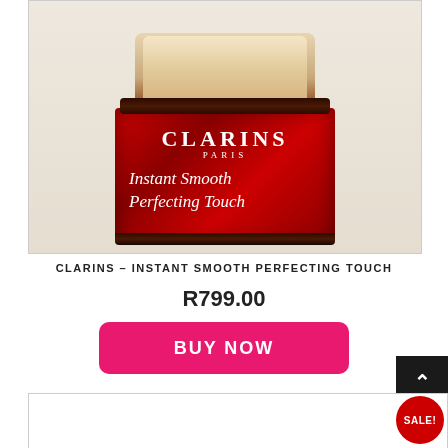[Figure (photo): Clarins Instant Smooth Perfecting Touch product photo — a compact with a dark brown top lid with beige/cream interior visible, and a deep red body with white text reading CLARINS PARIS Instant Smooth Perfecting Touch, on a light background.]
CLARINS – INSTANT SMOOTH PERFECTING TOUCH
R799.00
BUY NOW